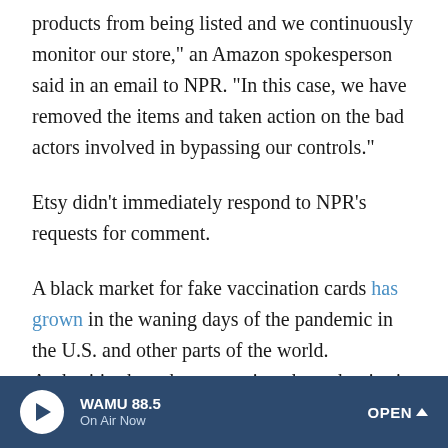products from being listed and we continuously monitor our store," an Amazon spokesperson said in an email to NPR. "In this case, we have removed the items and taken action on the bad actors involved in bypassing our controls."
Etsy didn't immediately respond to NPR's requests for comment.
A black market for fake vaccination cards has grown in the waning days of the pandemic in the U.S. and other parts of the world. Authorities have been warning about the rise in pandemic-related fraud for months.
Fake vaccine cards not only have a negative impact on public health, the FBI said, but they're against the law —
WAMU 88.5 On Air Now OPEN